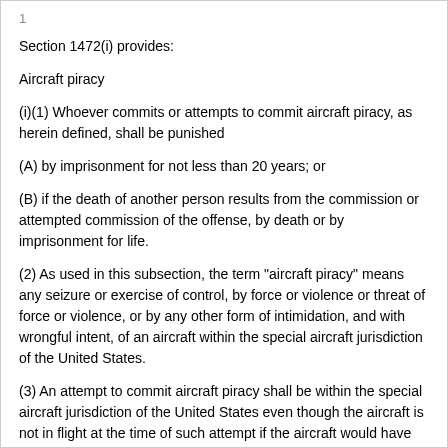1
Section 1472(i) provides:
Aircraft piracy
(i)(1) Whoever commits or attempts to commit aircraft piracy, as herein defined, shall be punished
(A) by imprisonment for not less than 20 years; or
(B) if the death of another person results from the commission or attempted commission of the offense, by death or by imprisonment for life.
(2) As used in this subsection, the term "aircraft piracy" means any seizure or exercise of control, by force or violence or threat of force or violence, or by any other form of intimidation, and with wrongful intent, of an aircraft within the special aircraft jurisdiction of the United States.
(3) An attempt to commit aircraft piracy shall be within the special aircraft jurisdiction of the United States even though the aircraft is not in flight at the time of such attempt if the aircraft would have been within